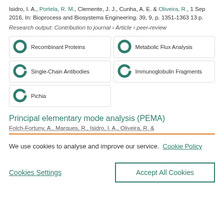Isidro, I. A., Portela, R. M., Clemente, J. J., Cunha, A. E. & Oliveira, R., 1 Sep 2016, In: Bioprocess and Biosystems Engineering. 39, 9, p. 1351-1363 13 p.
Research output: Contribution to journal › Article › peer-review
Recombinant Proteins
Metabolic Flux Analysis
Single-Chain Antibodies
Immunoglobulin Fragments
Pichia
Principal elementary mode analysis (PEMA)
Folch-Fortuny, A., Marques, R., Isidro, I. A., Oliveira, R. &
We use cookies to analyse and improve our service.  Cookie Policy
Cookies Settings
Accept All Cookies